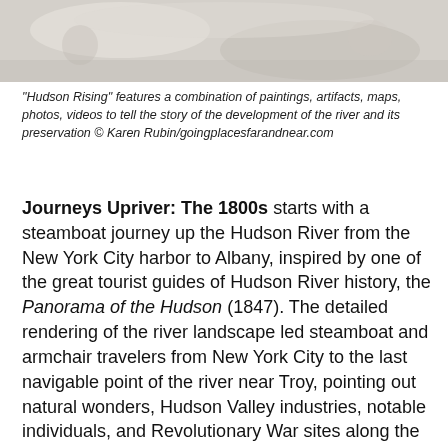[Figure (photo): Partial image of a painting or artifact related to the Hudson River, showing light-colored, textured background with faint figures or landscape elements.]
"Hudson Rising" features a combination of paintings, artifacts, maps, photos, videos to tell the story of the development of the river and its preservation © Karen Rubin/goingplacesfarandnear.com
Journeys Upriver: The 1800s starts with a steamboat journey up the Hudson River from the New York City harbor to Albany, inspired by one of the great tourist guides of Hudson River history, the Panorama of the Hudson (1847). The detailed rendering of the river landscape led steamboat and armchair travelers from New York City to the last navigable point of the river near Troy, pointing out natural wonders, Hudson Valley industries, notable individuals, and Revolutionary War sites along the way. Also on view are paintings, industrial objects, and an important Army Corps of Engineers map that shows how the Corps engineered the river to be a more navigable and predictable shipping channel. Hudson River School art on display include Robert Havell Jr.'s View of Hudson River from near Sing Sing, New York (ca. 1850) and George Henry